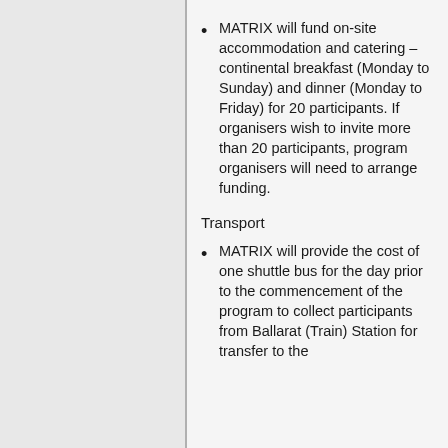MATRIX will fund on-site accommodation and catering – continental breakfast (Monday to Sunday) and dinner (Monday to Friday) for 20 participants. If organisers wish to invite more than 20 participants, program organisers will need to arrange funding.
Transport
MATRIX will provide the cost of one shuttle bus for the day prior to the commencement of the program to collect participants from Ballarat (Train) Station for transfer to the Creswick Campus.